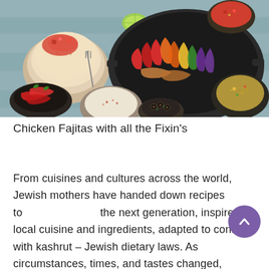[Figure (photo): Overhead flat-lay photo of chicken fajitas spread on a wooden table: a cast iron skillet with colorful sautéed bell peppers and chicken strips, flour tortillas on a plate, lime wedges, red chili peppers in a small bowl, a cream dipping sauce in a bowl, a small bowl of olives, a bowl of grain salad/tabbouleh, and a bowl of tomato salsa in the background.]
Chicken Fajitas with all the Fixin's
From cuisines and cultures across the world, Jewish mothers have handed down recipes to the next generation, inspired by local cuisine and ingredients, adapted to conform with kashrut – Jewish dietary laws. As circumstances, times, and tastes changed, Jewish food has evolved. This